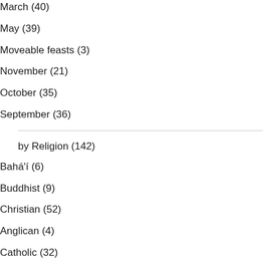March (40)
May (39)
Moveable feasts (3)
November (21)
October (35)
September (36)
by Religion (142)
Bahá'í (6)
Buddhist (9)
Christian (52)
Anglican (4)
Catholic (32)